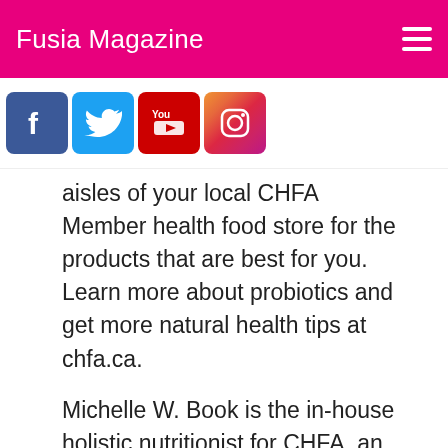Fusia Magazine
[Figure (logo): Social media icons row: Facebook, Twitter, YouTube, Instagram]
aisles of your local CHFA Member health food store for the products that are best for you. Learn more about probiotics and get more natural health tips at chfa.ca.
Michelle W. Book is the in-house holistic nutritionist for CHFA, an organization that educates Canadians about the benefits of natural health and organic products. Learn more at chfa.ca.